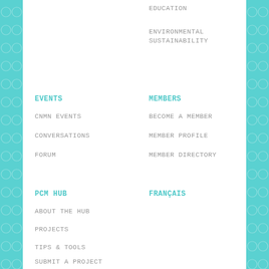EDUCATION
ENVIRONMENTAL SUSTAINABILITY
EVENTS
CNMN EVENTS
CONVERSATIONS
FORUM
MEMBERS
BECOME A MEMBER
MEMBER PROFILE
MEMBER DIRECTORY
PCM HUB
ABOUT THE HUB
PROJECTS
TIPS & TOOLS
SUBMIT A PROJECT
FRANÇAIS